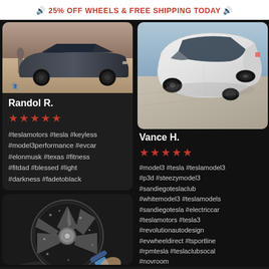🔊 25% OFF WHEELS & FREE SHIPPING TODAY 🔊
[Figure (photo): Dark grey Tesla Model 3 with a person standing beside it in a desert/sandy setting]
Randol R.
★★★★★
#teslamotors #tesla #keyless #model3performance #evcar #elonmusk #texas #fitness #fitdad #blessed #light #darkness #fadetoblack
[Figure (photo): White Tesla Model 3 shot from above/overhead angle on sandy/concrete surface with black aftermarket wheels]
Vance H.
★★★★★
#model3 #tesla #teslamodel3 #p3d #steezymodel3 #sandiegoteslaclub #whitemodel3 #teslamodels #sandiegotesla #electriccar #teslamotors #tesla3 #revolutionautodesign #evwheeldirect #tsportline #rpmtesla #teslaclubsocal #novroom
[Figure (photo): Close-up of a dark metallic aftermarket wheel/rim being cleaned with a brush, water droplets visible]